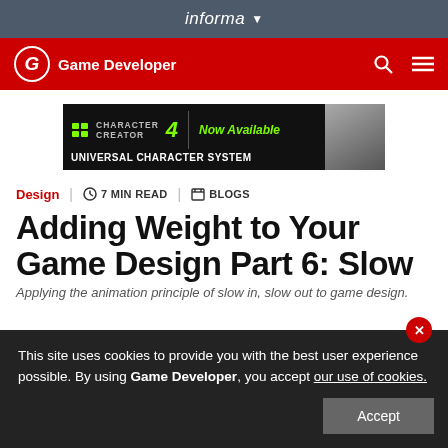informa
Game Developer
[Figure (screenshot): Character Creator 4 – Now Available – Universal Character System advertisement banner]
Design | 7 MIN READ | BLOGS
Adding Weight to Your Game Design Part 6: Slow
This site uses cookies to provide you with the best user experience possible. By using Game Developer, you accept our use of cookies.
Applying the animation principle of slow in, slow out to game design.
Accept